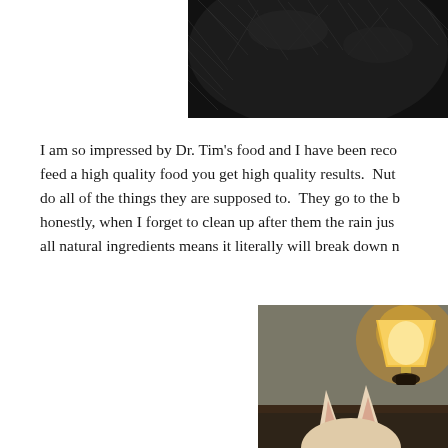[Figure (photo): Close-up photo of dark/black curly fur, cropped and positioned in upper right of page]
I am so impressed by Dr. Tim's food and I have been reco feed a high quality food you get high quality results.  Nut do all of the things they are supposed to.  They go to the b honestly, when I forget to clean up after them the rain jus all natural ingredients means it literally will break down n
[Figure (photo): Photo of a light-colored cat (possibly Sphynx or similar breed) with ears visible, in front of a lamp on a table in a dimly lit room]